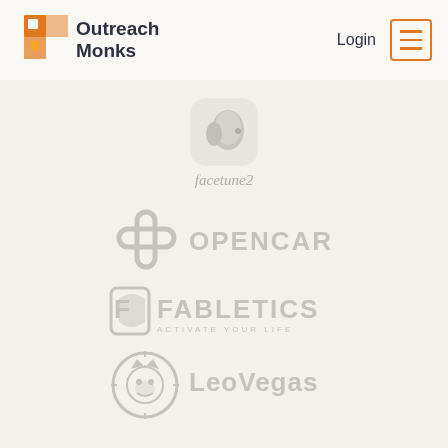[Figure (logo): Outreach Monks logo with orange geometric monk icon and dark navy text]
Login
[Figure (logo): Hamburger menu icon with orange border]
[Figure (logo): facetune2 app icon - small app icon with profile silhouette]
[Figure (logo): Opencare logo - gray cross/plus symbol with OPENCARE text]
[Figure (logo): Fabletics logo - gray F leaf icon with FABLETICS text and ACTIVATE YOUR LIFE tagline]
[Figure (logo): LeoVegas logo - gray lion head in circle with LeoVegas text]